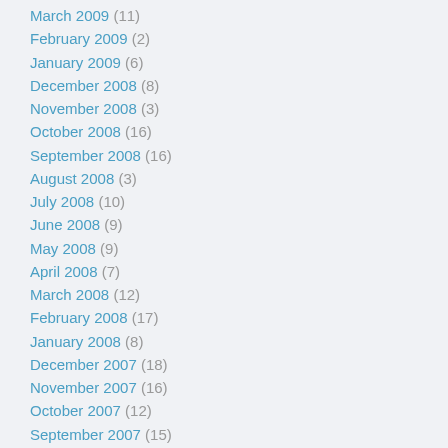March 2009 (11)
February 2009 (2)
January 2009 (6)
December 2008 (8)
November 2008 (3)
October 2008 (16)
September 2008 (16)
August 2008 (3)
July 2008 (10)
June 2008 (9)
May 2008 (9)
April 2008 (7)
March 2008 (12)
February 2008 (17)
January 2008 (8)
December 2007 (18)
November 2007 (16)
October 2007 (12)
September 2007 (15)
August 2007 (19)
July 2007 (6)
June 2007 (5)
May 2007 (4)